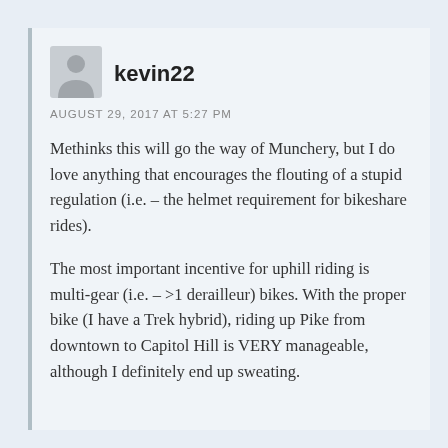[Figure (illustration): Generic grey user avatar silhouette icon]
kevin22
AUGUST 29, 2017 AT 5:27 PM
Methinks this will go the way of Munchery, but I do love anything that encourages the flouting of a stupid regulation (i.e. – the helmet requirement for bikeshare rides).
The most important incentive for uphill riding is multi-gear (i.e. – >1 derailleur) bikes. With the proper bike (I have a Trek hybrid), riding up Pike from downtown to Capitol Hill is VERY manageable, although I definitely end up sweating.